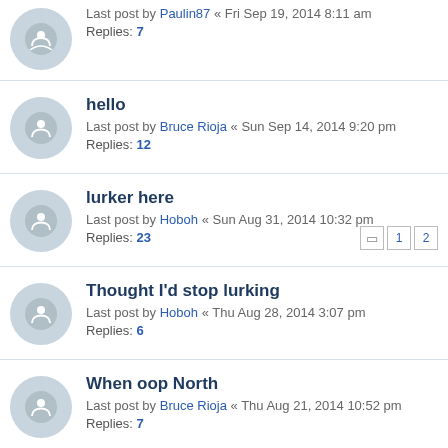Last post by Paulin87 « Fri Sep 19, 2014 8:11 am
Replies: 7
hello
Last post by Bruce Rioja « Sun Sep 14, 2014 9:20 pm
Replies: 12
lurker here
Last post by Hoboh « Sun Aug 31, 2014 10:32 pm
Replies: 23
Thought I'd stop lurking
Last post by Hoboh « Thu Aug 28, 2014 3:07 pm
Replies: 6
When oop North
Last post by Bruce Rioja « Thu Aug 21, 2014 10:52 pm
Replies: 7
Hello everyone